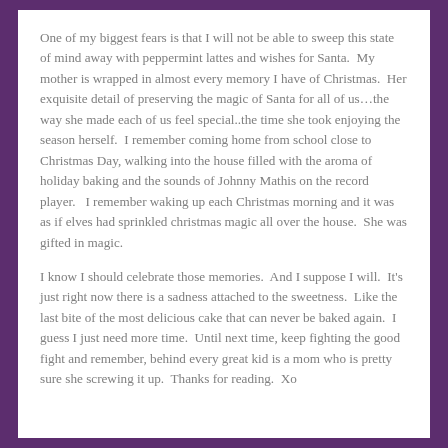One of my biggest fears is that I will not be able to sweep this state of mind away with peppermint lattes and wishes for Santa.  My mother is wrapped in almost every memory I have of Christmas.  Her exquisite detail of preserving the magic of Santa for all of us…the way she made each of us feel special..the time she took enjoying the season herself.  I remember coming home from school close to Christmas Day, walking into the house filled with the aroma of holiday baking and the sounds of Johnny Mathis on the record player.   I remember waking up each Christmas morning and it was as if elves had sprinkled christmas magic all over the house.  She was gifted in magic.
I know I should celebrate those memories.  And I suppose I will.  It's just right now there is a sadness attached to the sweetness.  Like the last bite of the most delicious cake that can never be baked again.  I guess I just need more time.  Until next time, keep fighting the good fight and remember, behind every great kid is a mom who is pretty sure she screwing it up.  Thanks for reading.  Xo